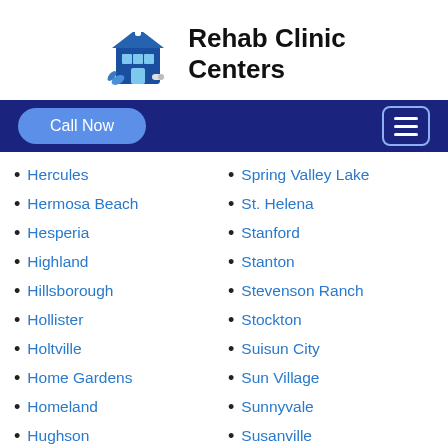Rehab Clinic Centers
Hercules
Hermosa Beach
Hesperia
Highland
Hillsborough
Hollister
Holtville
Home Gardens
Homeland
Hughson
Spring Valley Lake
St. Helena
Stanford
Stanton
Stevenson Ranch
Stockton
Suisun City
Sun Village
Sunnyvale
Susanville